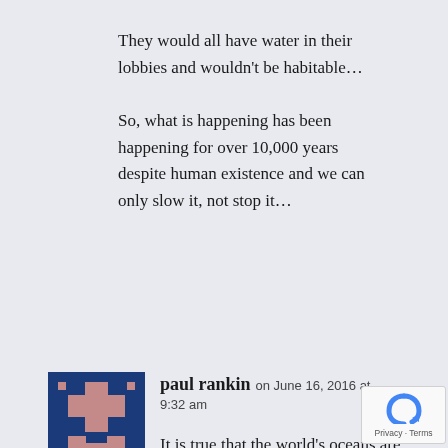They would all have water in their lobbies and wouldn't be habitable…
So, what is happening has been happening for over 10,000 years despite human existence and we can only slow it, not stop it…
[Figure (illustration): Pixel art avatar icon — dark blue background with a pink/mauve cross/plus shape and geometric H-like symbol]
paul rankin on June 16, 2016 at 9:32 am
It is true that the world's oceans are rising as global temperatures rise. Estimates